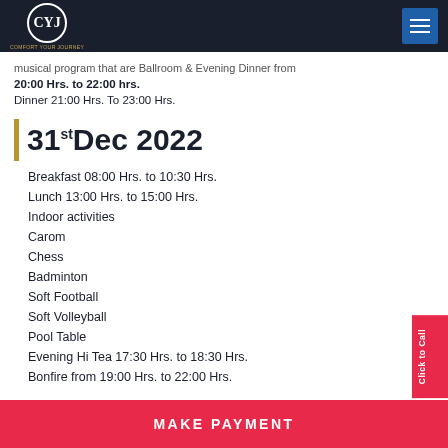CYJ (logo) — navigation header
musical program that are Ballroom & Evening Dinner from 20:00 Hrs. to 22:00 hrs.
Dinner 21:00 Hrs. To 23:00 Hrs.
31st Dec 2022
Breakfast 08:00 Hrs. to 10:30 Hrs.
Lunch 13:00 Hrs. to 15:00 Hrs.
Indoor activities
Carom
Chess
Badminton
Soft Football
Soft Volleyball
Pool Table
Evening Hi Tea 17:30 Hrs. to 18:30 Hrs.
Bonfire from 19:00 Hrs. to 22:00 Hrs.
MAKE PAYMENT